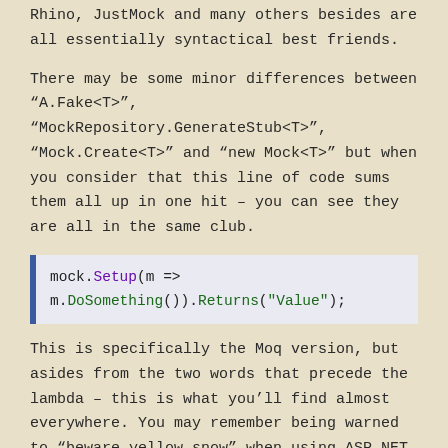Rhino, JustMock and many others besides are all essentially syntactical best friends.
There may be some minor differences between “A.Fake<T>”, “MockRepository.GenerateStub<T>”, “Mock.Create<T>” and “new Mock<T>” but when you consider that this line of code sums them all up in one hit – you can see they are all in the same club.
mock.Setup(m => m.DoSomething()).Returns("Value");
This is specifically the Moq version, but asides from the two words that precede the lambda – this is what you’ll find almost everywhere. You may remember being warned to “beware yellow snow” when using ASP.NET